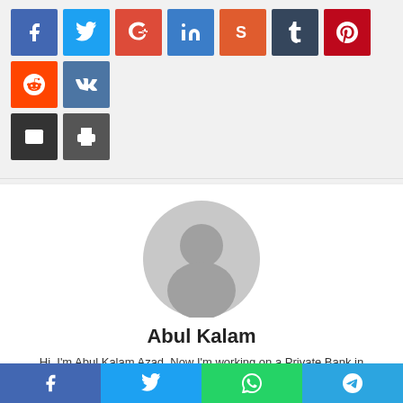[Figure (infographic): Social media share buttons row: Facebook (blue), Twitter (light blue), Google+ (red), LinkedIn (blue), StumbleUpon (orange), Tumblr (dark navy), Pinterest (dark red), Reddit (orange-red), VK (steel blue), Email (dark gray), Print (gray)]
[Figure (photo): Generic user avatar placeholder — gray silhouette of a person on a light gray circle background]
Abul Kalam
Hi, I'm Abul Kalam Azad. Now I'm working on a Private Bank in Bangladesh. In this website, I shall publish content on Finance
[Figure (infographic): Bottom social share bar with four buttons: Facebook (blue), Twitter (light blue), WhatsApp (green), Telegram (blue)]